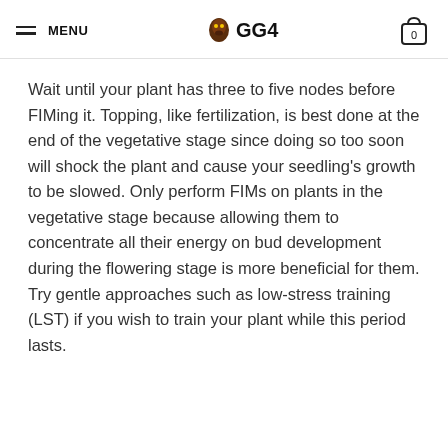MENU  GG4  0
Wait until your plant has three to five nodes before FIMing it. Topping, like fertilization, is best done at the end of the vegetative stage since doing so too soon will shock the plant and cause your seedling's growth to be slowed. Only perform FIMs on plants in the vegetative stage because allowing them to concentrate all their energy on bud development during the flowering stage is more beneficial for them. Try gentle approaches such as low-stress training (LST) if you wish to train your plant while this period lasts.